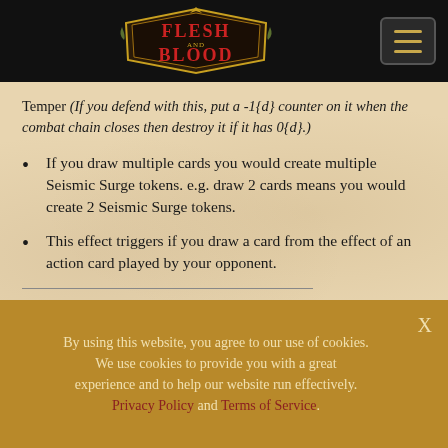[Figure (logo): Flesh and Blood trading card game logo in red and gold on black header bar]
Temper (If you defend with this, put a -1{d} counter on it when the combat chain closes then destroy it if it has 0{d}.)
If you draw multiple cards you would create multiple Seismic Surge tokens. e.g. draw 2 cards means you would create 2 Seismic Surge tokens.
This effect triggers if you draw a card from the effect of an action card played by your opponent.
Pulverize
By using this website, you agree to our use of cookies. We use cookies to provide you with a great experience and to help our website run effectively. Privacy Policy and Terms of Service.